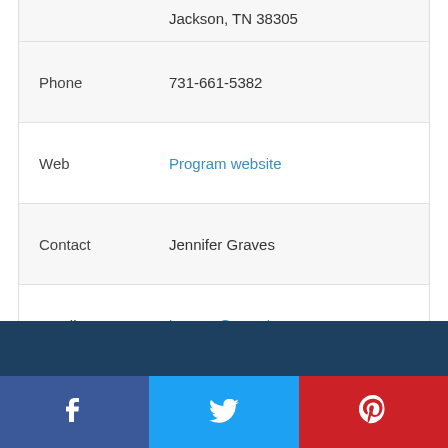| Field | Value |
| --- | --- |
|  | Jackson, TN 38305 |
| Phone | 731-661-5382 |
| Web | Program website |
| Contact | Jennifer Graves |
| Email | jgraves@uu.edu |
SAVE  QUICK LOOK
Facebook  Twitter  Pinterest